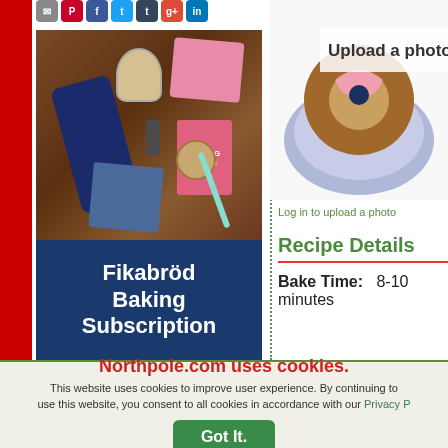[Figure (screenshot): Social media sharing icons row: email, pinterest, facebook, twitter, tumblr, google+, linkedin]
[Figure (photo): Product photo of Fikabröd Baking Subscription Box items on wooden surface: socks, jar, notebook, bottle, baking ideas book, pen. Blue section with white text.]
[Figure (illustration): Cartoon illustration of baked goods on a plate with 'Upload a photo' overlay text]
Log in to upload a photo
Recipe Details
Bake Time:    8-10 minutes
Northpole.com uses cookies.
This website uses cookies to improve user experience. By continuing to use this website, you consent to all cookies in accordance with our Privacy P...
Got It.